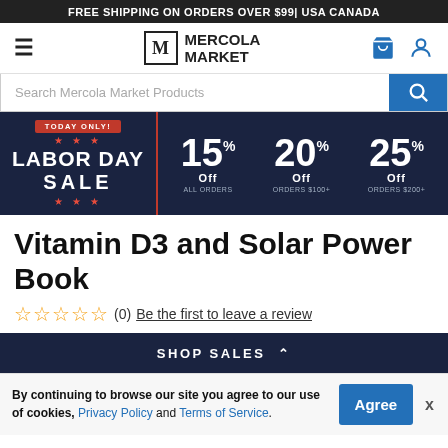FREE SHIPPING ON ORDERS OVER $99| USA CANADA
[Figure (logo): Mercola Market logo with hamburger menu, cart, and user icons]
Search Mercola Market Products
[Figure (infographic): Labor Day Sale banner: TODAY ONLY! 15% Off All Orders, 20% Off Orders $100+, 25% Off Orders $200+]
Vitamin D3 and Solar Power Book
☆☆☆☆☆ (0) Be the first to leave a review
SHOP SALES ∧
By continuing to browse our site you agree to our use of cookies, Privacy Policy and Terms of Service.